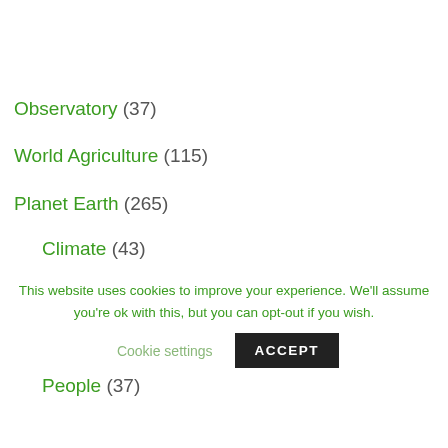Observatory (37)
World Agriculture (115)
Planet Earth (265)
Climate (43)
Ecosystem (33)
Maps (140)
People (37)
This website uses cookies to improve your experience. We'll assume you're ok with this, but you can opt-out if you wish.
Cookie settings   ACCEPT